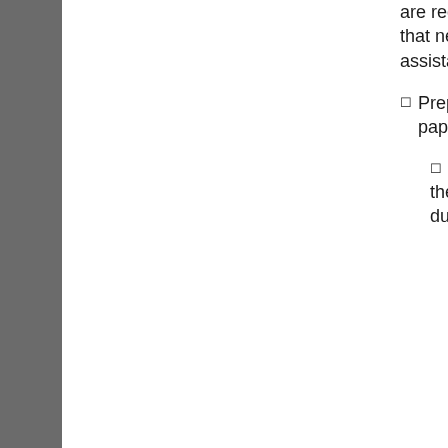are recurring concerns that need administrative assistance.
Prepare IEP paperwork.
Communicate with the IEP Clerk for IEP due dates
Use the draft IEP that has been opened by the IEP